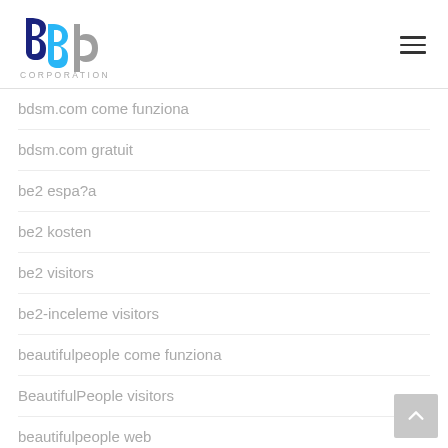[Figure (logo): bbp Corporation logo with blue and grey letters]
bdsm.com come funziona
bdsm.com gratuit
be2 espa?a
be2 kosten
be2 visitors
be2-inceleme visitors
beautifulpeople come funziona
BeautifulPeople visitors
beautifulpeople web